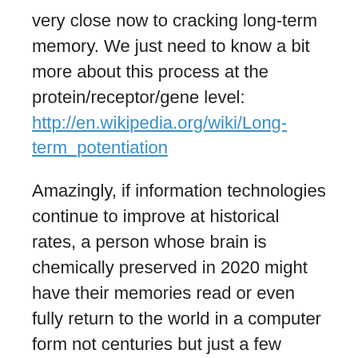very close now to cracking long-term memory. We just need to know a bit more about this process at the protein/receptor/gene level: http://en.wikipedia.org/wiki/Long-term_potentiation
Amazingly, if information technologies continue to improve at historical rates, a person whose brain is chemically preserved in 2020 might have their memories read or even fully return to the world in a computer form not centuries but just a few decades from now, while their children and loved ones are still alive. Given progress in electron microscopy and connectomics research to date, we can even forsee how this may be done as a fully automated and inexpensive process.
Today, only 1% of people in developed societies are interested in living beyond their biological death (see